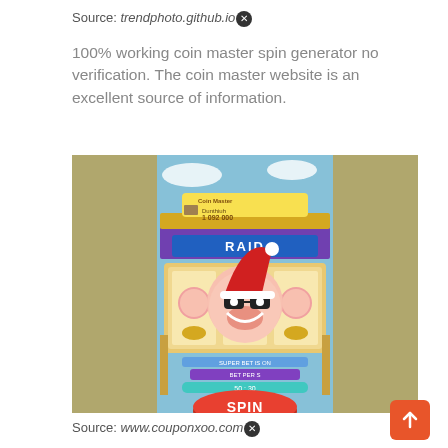Source: trendphoto.github.io
100% working coin master spin generator no verification. The coin master website is an excellent source of information.
[Figure (screenshot): Screenshot of Coin Master mobile game showing a slot machine with a pig character wearing a Santa hat and sunglasses, displaying 'RAID' text, with 1,092,000 coins shown, a SPIN button, and +39 spins indicator]
Source: www.couponxoo.com